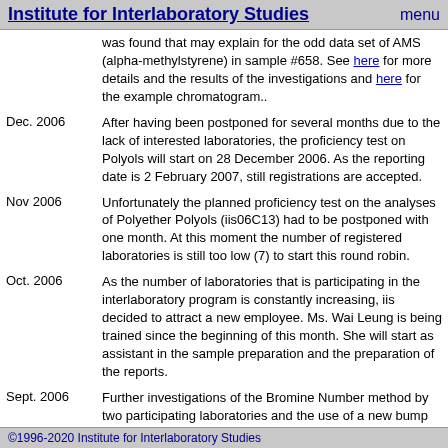Institute for Interlaboratory Studies   menu
was found that may explain for the odd data set of AMS (alpha-methylstyrene) in sample #658. See here for more details and the results of the investigations and here for the example chromatogram..
Dec. 2006 — After having been postponed for several months due to the lack of interested laboratories, the proficiency test on Polyols will start on 28 December 2006. As the reporting date is 2 February 2007, still registrations are accepted.
Nov 2006 — Unfortunately the planned proficiency test on the analyses of Polyether Polyols (iis06C13) had to be postponed with one month. At this moment the number of registered laboratories is still too low (7) to start this round robin.
Oct. 2006 — As the number of laboratories that is participating in the interlaboratory program is constantly increasing, iis decided to attract a new employee. Ms. Wai Leung is being trained since the beginning of this month. She will start as assistant in the sample preparation and the preparation of the reports.
Sept. 2006 — Further investigations of the Bromine Number method by two participating laboratories and the use of a new bump hunting method (recently described by M. Thompson, see the AMC website) on the odd dataset for Bromine Number (see below August news item). provided additional evidence that the majority of the reported results for Bromine Number were incorrect. See for more details here.
August 2006 — The laboratory of Shell Rheinland Refinery pointed us to the presence of 130 ppm Styrene in the benzene sample #0627 that was used in the proficiency test iis06C05. This amount of
©1996-2020 Institute for Interlaboratory Studies